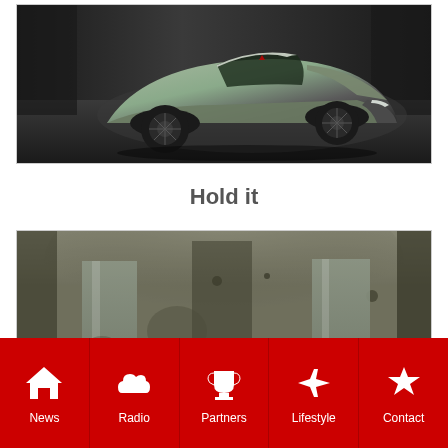[Figure (photo): Silver/gray sports concept car photographed from front-right angle in dark studio environment]
Hold it
[Figure (photo): Interior of a dark concrete structure with architectural columns/panels, and partial view of a car at the bottom]
News | Radio | Partners | Lifestyle | Contact